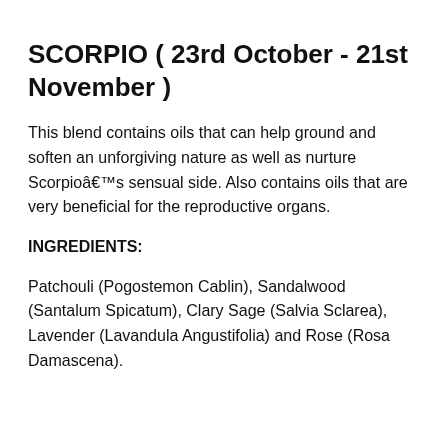SCORPIO ( 23rd October - 21st November )
This blend contains oils that can help ground and soften an unforgiving nature as well as nurture Scorpioâ€™s sensual side. Also contains oils that are very beneficial for the reproductive organs.
INGREDIENTS:
Patchouli (Pogostemon Cablin), Sandalwood (Santalum Spicatum), Clary Sage (Salvia Sclarea), Lavender (Lavandula Angustifolia) and Rose (Rosa Damascena).